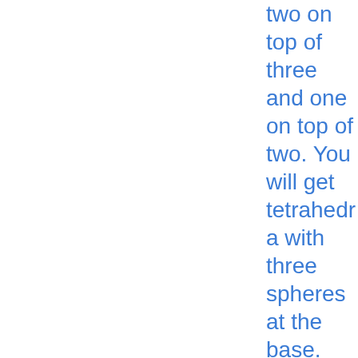two on top of three and one on top of two. You will get tetrahedra with three spheres at the base. This is how they stack